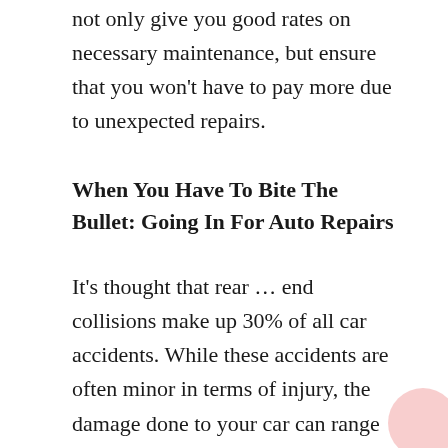not only give you good rates on necessary maintenance, but ensure that you won't have to pay more due to unexpected repairs.
When You Have To Bite The Bullet: Going In For Auto Repairs
It's thought that rear … end collisions make up 30% of all car accidents. While these accidents are often minor in terms of injury, the damage done to your car can range from annoying to catastrophic. Either way, you'll need to see the auto body shop. Unexpected incidents are why it's so important to build up a steady relationship with a good shop. That aside, you